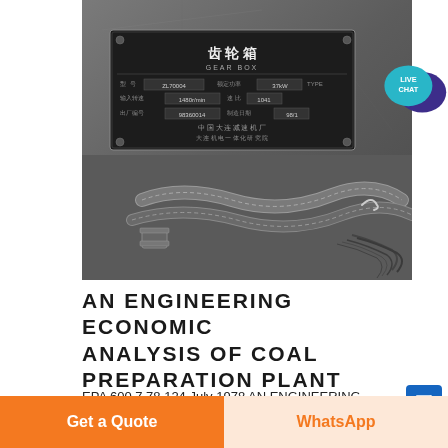[Figure (photo): Close-up photo of a Chinese gear box (齿轮箱 / GEAR BOX) nameplate mounted on industrial equipment, with hydraulic hoses/cables visible in the foreground. The nameplate has Chinese characters and specifications printed on it.]
AN ENGINEERING ECONOMIC ANALYSIS OF COAL PREPARATION PLANT
EPA 600 7 78 124 July 1978 AN ENGINEERING